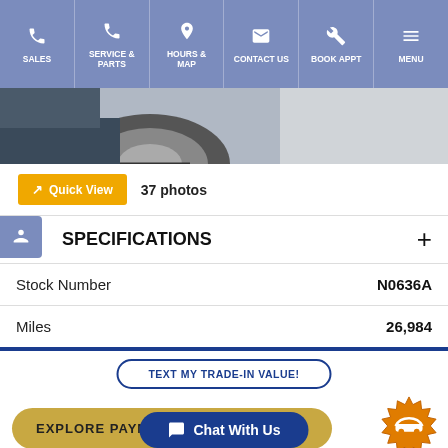SALES | SERVICE & PARTS | HOURS & MAP | CONTACT US | BOOK APPT | MENU
[Figure (photo): Partial view of a car wheel and lower body panel, dark colored vehicle]
Quick View  37 photos
SPECIFICATIONS
| Field | Value |
| --- | --- |
| Stock Number | N0636A |
| Miles | 26,984 |
TEXT MY TRADE-IN VALUE!
EXPLORE PAYMENTS
CERTIFIED PRE-OWNED
CHEVROLET
Chat With Us